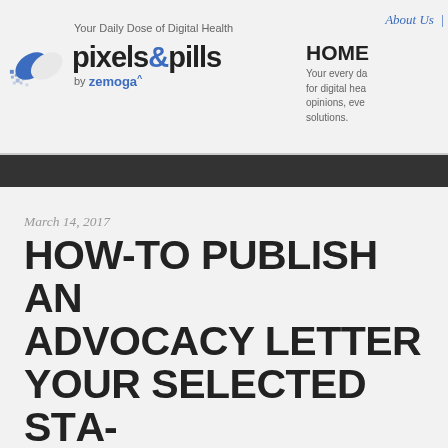[Figure (logo): Pixels & Pills logo with pill capsule icon, tagline 'Your Daily Dose of Digital Health', and 'by zemoga' text]
About Us
HOME
Your every da for digital hea opinions, eve solutions.
March 14, 2017
HOW-TO PUBLISH AN ADVOCACY LETTER YOUR SELECTED STA A-BY- MANUAL
Posted by Michael Spitz